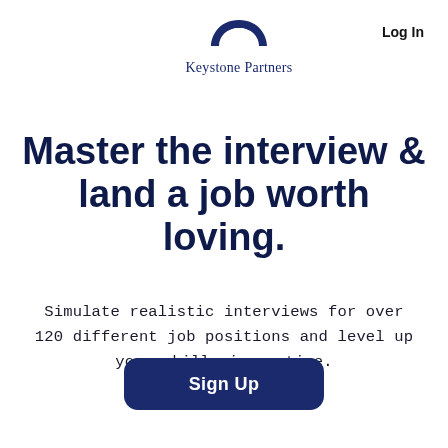[Figure (logo): Keystone Partners logo with a dark navy arch/keystone icon above the text 'Keystone Partners']
Log In
Master the interview & land a job worth loving.
Simulate realistic interviews for over 120 different job positions and level up your skills in no time.
Sign Up